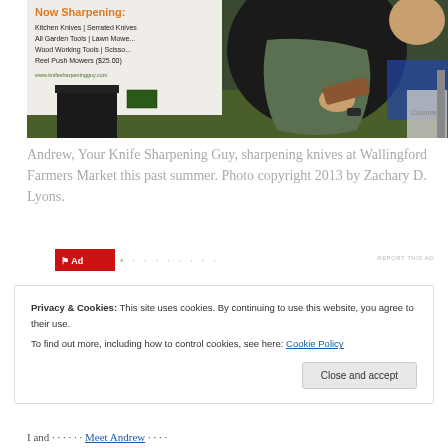[Figure (photo): A person (Andrew, Your Knife Sharpening Guy) sharpening knives at Wallingford Farmers Market. A sign in the background reads 'Now Sharpening: Kitchen Knives | Serrated Knives | All Garden Tools | Lawn Mowers | Wood Working Tools | Scissors | Reel Push Mowers ($25.00)'. The person is wearing a dark shirt and green apron.]
Andrew, Your Knife Sharpening Guy, sharpening knives at Wallingford Farmers Market this past summer. Photo copyright 2013 by Zachary D. Lyons.
REPORT THIS AD
Privacy & Cookies: This site uses cookies. By continuing to use this website, you agree to their use.
To find out more, including how to control cookies, see here: Cookie Policy
Close and accept
I and ...